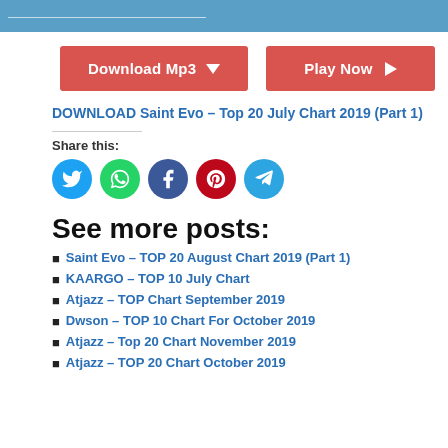[Figure (screenshot): Blue header banner with white text/lines]
[Figure (other): Two red buttons: 'Download Mp3' with down arrow and 'Play Now' with right arrow]
DOWNLOAD Saint Evo – Top 20 July Chart 2019 (Part 1)
Share this:
[Figure (other): Social media icons: Twitter (blue), WhatsApp (green), Facebook (dark blue), Pinterest (red), Telegram (light blue)]
See more posts:
Saint Evo – TOP 20 August Chart 2019 (Part 1)
KAARGO – TOP 10 July Chart
Atjazz – TOP Chart September 2019
Dwson – TOP 10 Chart For October 2019
Atjazz – Top 20 Chart November 2019
Atjazz – TOP 20 Chart October 2019